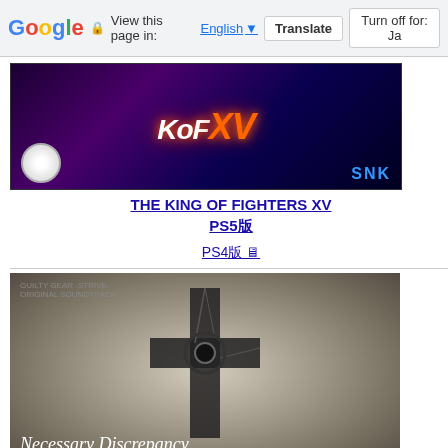Google | View this page in: English [▼] | Translate | Turn off for: Ja
[Figure (photo): KOF XV – The King of Fighters XV game cover art with SNK logo]
THE KING OF FIGHTERS XV PS5版
PS4版 🖥
[Figure (photo): Guilty Gear -Strive- Original Soundtrack Necessary Discrepancy album cover]
GUILTY GEAR -STRIVE- ORIGINAL SOUNDTRACK Necessary Discrepancy 初回限定DX盤仕様
[Figure (photo): JoJo game Nintendo Switch box art 1]
[Figure (photo): JoJo game Nintendo Switch box art 2]
【2022年9月1日(木) 発売予定 Ni...
(初回限定版)(Switch版) 発...
Rakuten
| # | Item |
| --- | --- |
| 1 | ■cola |
| 2 | ゼルダ伝説 |
| 3 | 任天堂 |
| 4 | モンスター |